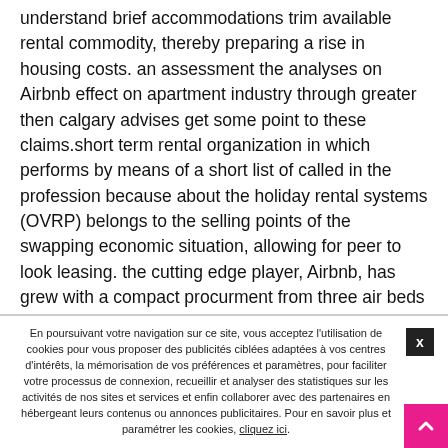understand brief accommodations trim available rental commodity, thereby preparing a rise in housing costs. an assessment the analyses on Airbnb effect on apartment industry through greater then calgary advises get some point to these claims.short term rental organization in which performs by means of a short list of called in the profession because about the holiday rental systems (OVRP) belongs to the selling points of the swapping economic situation, allowing for peer to look leasing. the cutting edge player, Airbnb, has grew with a compact procurment from three air beds into s. fransisco an industry 2008 to valuation than that of greater so much hospitality leaders and / or as Hilton Marriott.and short-run rental properties have had a smallish impact on typical hotel limited
En poursuivant votre navigation sur ce site, vous acceptez l'utilisation de cookies pour vous proposer des publicités ciblées adaptées à vos centres d'intérêts, la mémorisation de vos préférences et paramètres, pour faciliter votre processus de connexion, recueillir et analyser des statistiques sur les activités de nos sites et services et enfin collaborer avec des partenaires en hébergeant leurs contenus ou annonces publicitaires. Pour en savoir plus et paramétrer les cookies, cliquez ici.